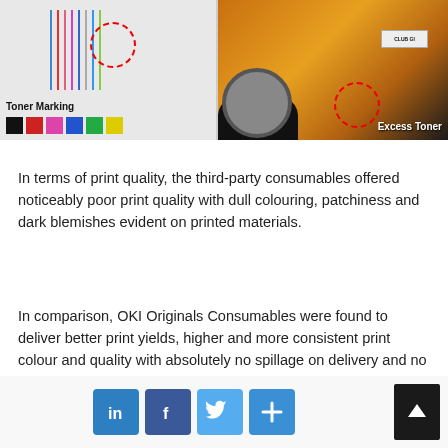[Figure (photo): Left half shows a test print strip with colored vertical lines and color swatches, with a dashed red circle highlighting a defect area. Label 'Toner Marking' appears below. Right half shows an orange sports car (Lamborghini) photo with a dashed red circle highlighting an area of excess toner. Label 'Excess Toner' appears in white.]
In terms of print quality, the third-party consumables offered noticeably poor print quality with dull colouring, patchiness and dark blemishes evident on printed materials.
In comparison, OKI Originals Consumables were found to deliver better print yields, higher and more consistent print colour and quality with absolutely no spillage on delivery and no damage caused to devices.
[Figure (infographic): Social media share buttons: LinkedIn (in), Facebook (f), Twitter (bird icon), and a plus/share button. An up-arrow scroll-to-top button appears on the right.]